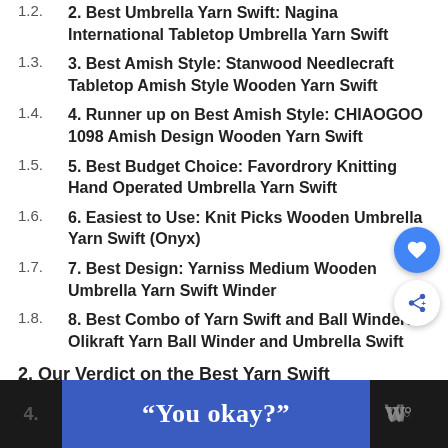1.2. 2. Best Umbrella Yarn Swift: Nagina International Tabletop Umbrella Yarn Swift
1.3. 3. Best Amish Style: Stanwood Needlecraft Tabletop Amish Style Wooden Yarn Swift
1.4. 4. Runner up on Best Amish Style: CHIAOGOO 1098 Amish Design Wooden Yarn Swift
1.5. 5. Best Budget Choice: Favordrory Knitting Hand Operated Umbrella Yarn Swift
1.6. 6. Easiest to Use: Knit Picks Wooden Umbrella Yarn Swift (Onyx)
1.7. 7. Best Design: Yarniss Medium Wooden Umbrella Yarn Swift Winder
1.8. 8. Best Combo of Yarn Swift and Ball Winder: Olikraft Yarn Ball Winder and Umbrella Swift
2. Our Verdict on the Best Yarn Swift
3. What is a Yarn Swift?
4.
“You okay?”
[Figure (logo): Dark background with stylized 'W' logo mark in grey]